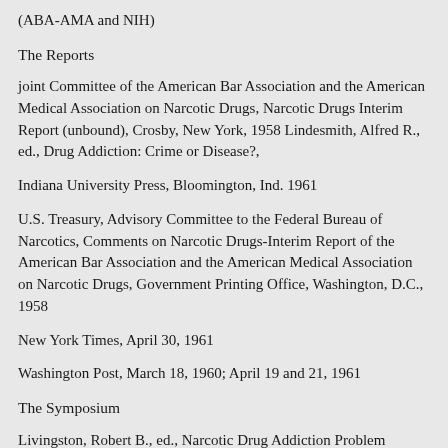(ABA-AMA and NIH)
The Reports
joint Committee of the American Bar Association and the American Medical Association on Narcotic Drugs, Narcotic Drugs Interim Report (unbound), Crosby, New York, 1958 Lindesmith, Alfred R., ed., Drug Addiction: Crime or Disease?,
Indiana University Press, Bloomington, Ind. 1961
U.S. Treasury, Advisory Committee to the Federal Bureau of Narcotics, Comments on Narcotic Drugs-Interim Report of the American Bar Association and the American Medical Association on Narcotic Drugs, Government Printing Office, Washington, D.C., 1958
New York Times, April 30, 1961
Washington Post, March 18, 1960; April 19 and 21, 1961
The Symposium
Livingston, Robert B., ed., Narcotic Drug Addiction Problem (Public Health Service Pub. No. 1050), Government Printing Office, Washington, D.C., 1963